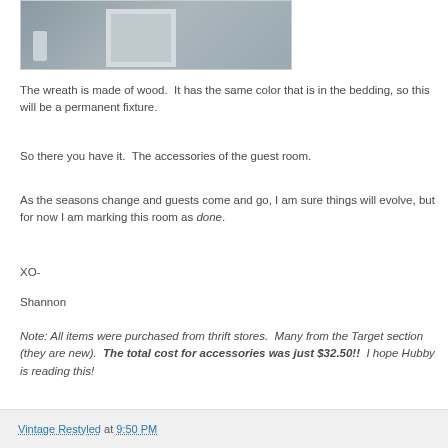[Figure (photo): Photo of a wooden wreath on a wall, partially visible at top of page]
The wreath is made of wood.  It has the same color that is in the bedding, so this will be a permanent fixture.
So there you have it.  The accessories of the guest room.
As the seasons change and guests come and go, I am sure things will evolve, but for now I am marking this room as done.
XO-
Shannon
Note: All items were purchased from thrift stores.  Many from the Target section (they are new).  The total cost for accessories was just $32.50!!  I hope Hubby is reading this!
Vintage Restyled at 9:50 PM